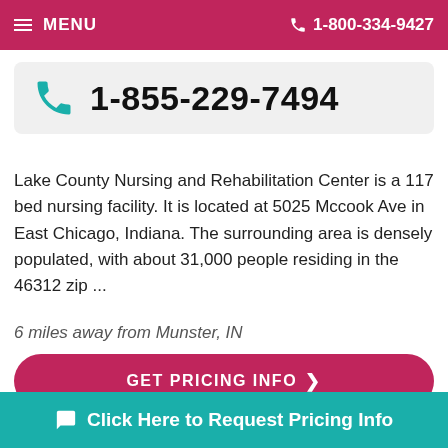MENU | 1-800-334-9427
1-855-229-7494
Lake County Nursing and Rehabilitation Center is a 117 bed nursing facility. It is located at 5025 Mccook Ave in East Chicago, Indiana. The surrounding area is densely populated, with about 31,000 people residing in the 46312 zip ...
6 miles away from Munster, IN
GET PRICING INFO >
SEE DETAILS >
Click Here to Request Pricing Info